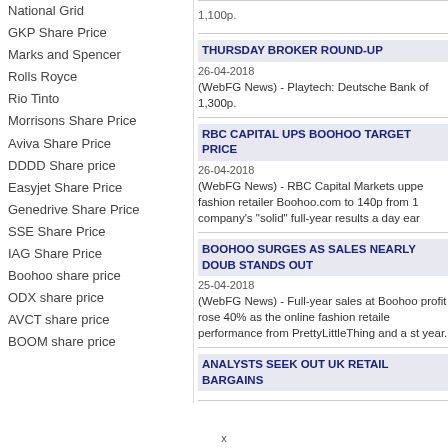National Grid
GKP Share Price
Marks and Spencer
Rolls Royce
Rio Tinto
Morrisons Share Price
Aviva Share Price
DDDD Share price
Easyjet Share Price
Genedrive Share Price
SSE Share Price
IAG Share Price
Boohoo share price
ODX share price
AVCT share price
BOOM share price
THURSDAY BROKER ROUND-UP
26-04-2018
(WebFG News) - Playtech: Deutsche Bank of 1,300p.
RBC CAPITAL UPS BOOHOO TARGET PRICE
26-04-2018
(WebFG News) - RBC Capital Markets uppe fashion retailer Boohoo.com to 140p from 1 company's "solid" full-year results a day ear
BOOHOO SURGES AS SALES NEARLY DOUB STANDS OUT
25-04-2018
(WebFG News) - Full-year sales at Boohoo profit rose 40% as the online fashion retaile performance from PrettyLittleThing and a st year.
ANALYSTS SEEK OUT UK RETAIL BARGAINS
x